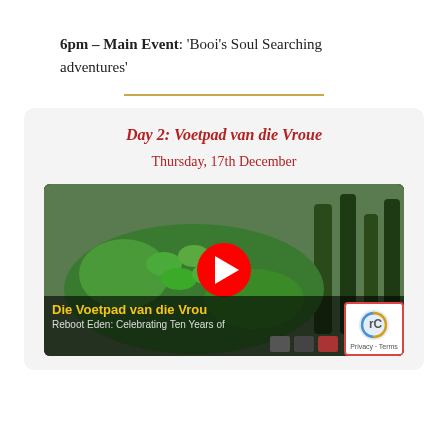6pm – Main Event: 'Booi's Soul Searching adventures'
[Figure (other): YouTube video thumbnail for 'Reboot Eden: Die Voetpad Va...' showing a green tent/sculpture with tall cypress trees in the background. A red YouTube play button is centered. Bottom bar shows 'Die Voetpad van die Vrou' and 'Reboot Eden: Celebrating Ten Years of']
Day 2: Voetpad van die Vroue
Thursday, 17th December